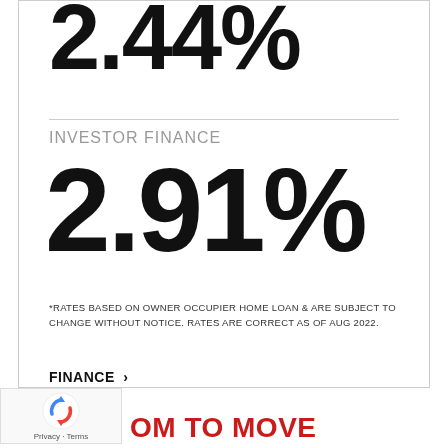2.44%
INVESTOR FINANCE
2.91%
*RATES BASED ON OWNER OCCUPIER HOME LOAN & ARE SUBJECT TO CHANGE WITHOUT NOTICE. RATES ARE CORRECT AS OF AUG 2022.
FINANCE >
[Figure (logo): reCAPTCHA logo with refresh icon]
OM TO MOVE